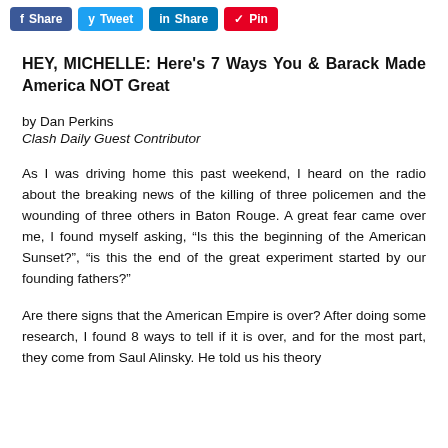Share | Tweet | Share | Pin
HEY, MICHELLE: Here's 7 Ways You & Barack Made America NOT Great
by Dan Perkins
Clash Daily Guest Contributor
As I was driving home this past weekend, I heard on the radio about the breaking news of the killing of three policemen and the wounding of three others in Baton Rouge. A great fear came over me, I found myself asking, “Is this the beginning of the American Sunset?”, “is this the end of the great experiment started by our founding fathers?”
Are there signs that the American Empire is over? After doing some research, I found 8 ways to tell if it is over, and for the most part, they come from Saul Alinsky. He told us his theory